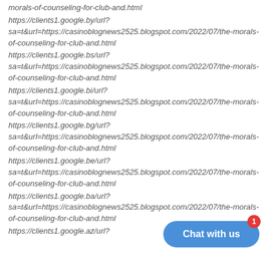morals-of-counseling-for-club-and.html
https://clients1.google.by/url?sa=t&url=https://casinoblognews2525.blogspot.com/2022/07/the-morals-of-counseling-for-club-and.html
https://clients1.google.bs/url?sa=t&url=https://casinoblognews2525.blogspot.com/2022/07/the-morals-of-counseling-for-club-and.html
https://clients1.google.bi/url?sa=t&url=https://casinoblognews2525.blogspot.com/2022/07/the-morals-of-counseling-for-club-and.html
https://clients1.google.bg/url?sa=t&url=https://casinoblognews2525.blogspot.com/2022/07/the-morals-of-counseling-for-club-and.html
https://clients1.google.be/url?sa=t&url=https://casinoblognews2525.blogspot.com/2022/07/the-morals-of-counseling-for-club-and.html
https://clients1.google.ba/url?sa=t&url=https://casinoblognews2525.blogspot.com/2022/07/the-morals-of-counseling-for-club-and.html
https://clients1.google.az/url?